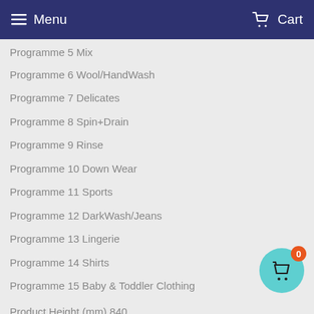Menu   Cart
Programme 5 Mix
Programme 6 Wool/HandWash
Programme 7 Delicates
Programme 8 Spin+Drain
Programme 9 Rinse
Programme 10 Down Wear
Programme 11 Sports
Programme 12 DarkWash/Jeans
Programme 13 Lingerie
Programme 14 Shirts
Programme 15 Baby & Toddler Clothing
Product Height (mm) 840
Product Width (mm) 600
Product Depth (mm) 590
Condition
[Figure (illustration): Floating teal circle button with shopping bag icon and orange badge showing 0]